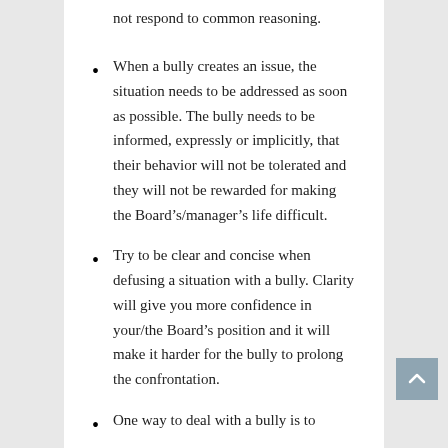not respond to common reasoning.
When a bully creates an issue, the situation needs to be addressed as soon as possible. The bully needs to be informed, expressly or implicitly, that their behavior will not be tolerated and they will not be rewarded for making the Board’s/manager’s life difficult.
Try to be clear and concise when defusing a situation with a bully. Clarity will give you more confidence in your/the Board’s position and it will make it harder for the bully to prolong the confrontation.
One way to deal with a bully is to